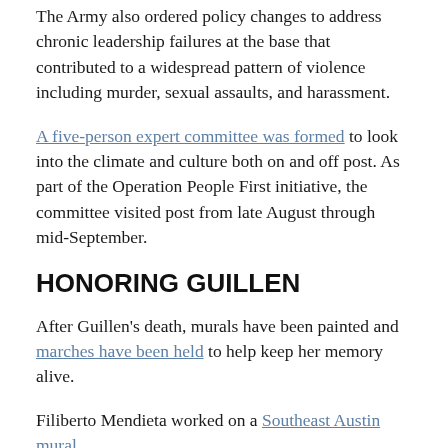The Army also ordered policy changes to address chronic leadership failures at the base that contributed to a widespread pattern of violence including murder, sexual assaults, and harassment.
A five-person expert committee was formed to look into the climate and culture both on and off post. As part of the Operation People First initiative, the committee visited post from late August through mid-September.
HONORING GUILLEN
After Guillen's death, murals have been painted and marches have been held to help keep her memory alive.
Filiberto Mendieta worked on a Southeast Austin mural